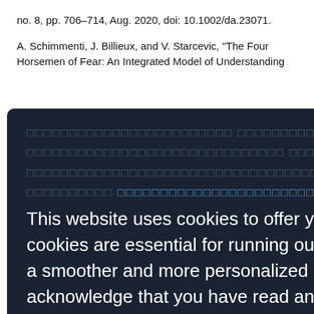no. 8, pp. 706–714, Aug. 2020, doi: 10.1002/da.23071.
A. Schimmenti, J. Billieux, and V. Starcevic, "The Four Horsemen of Fear: An Integrated Model of Understanding
[Figure (screenshot): Cookie consent overlay on a dark navy background with placeholder text rows, cookie notice text, privacy policy link, and Accept button]
A. S. Masten, Ordinary Magic: Lesso